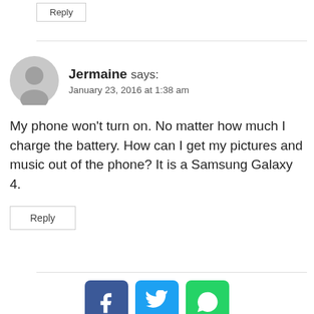Reply
Jermaine says:
January 23, 2016 at 1:38 am
My phone won't turn on. No matter how much I charge the battery. How can I get my pictures and music out of the phone? It is a Samsung Galaxy 4.
Reply
[Figure (infographic): Social sharing icons: Facebook (blue), Twitter (light blue), WhatsApp (green)]